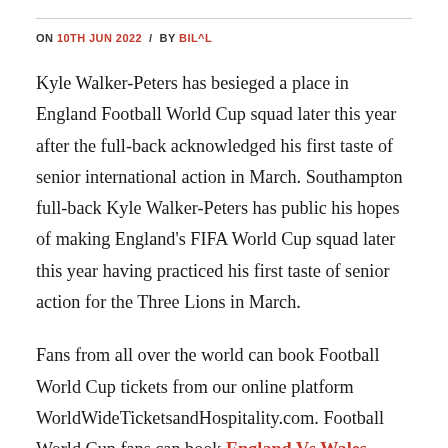ON 10TH JUN 2022 / BY BIL^L
Kyle Walker-Peters has besieged a place in England Football World Cup squad later this year after the full-back acknowledged his first taste of senior international action in March. Southampton full-back Kyle Walker-Peters has public his hopes of making England's FIFA World Cup squad later this year having practiced his first taste of senior action for the Three Lions in March.
Fans from all over the world can book Football World Cup tickets from our online platform WorldWideTicketsandHospitality.com. Football World Cup fans can book England Vs Wales Tickets on our